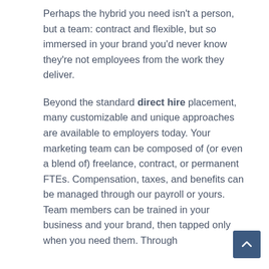Perhaps the hybrid you need isn't a person, but a team: contract and flexible, but so immersed in your brand you'd never know they're not employees from the work they deliver.
Beyond the standard direct hire placement, many customizable and unique approaches are available to employers today. Your marketing team can be composed of (or even a blend of) freelance, contract, or permanent FTEs. Compensation, taxes, and benefits can be managed through our payroll or yours. Team members can be trained in your business and your brand, then tapped only when you need them. Through